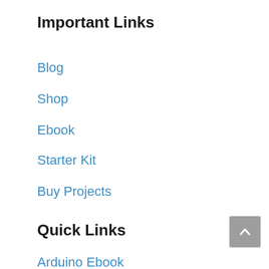Important Links
Blog
Shop
Ebook
Starter Kit
Buy Projects
Quick Links
Arduino Ebook
Arduino Starter Kit-1